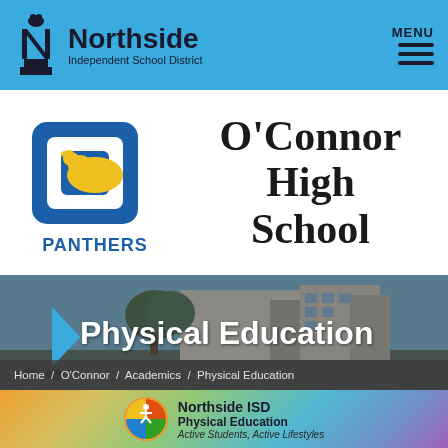Northside Independent School District — MENU
[Figure (logo): O'Connor High School Panthers mascot logo with letter O and panther, text PANTHERS below]
O'Connor High School
[Figure (photo): O'Connor High School building exterior with Physical Education banner overlay and blue triangle accent]
Home / O'Connor / Academics / Physical Education
[Figure (logo): Northside ISD Physical Education logo with circular badge and tagline Active Students, Active Lifestyles]